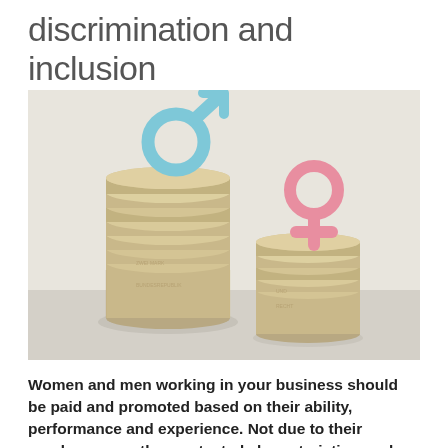discrimination and inclusion
[Figure (photo): Two stacks of coins of different heights, each with a gender symbol on top. The taller stack on the left has a blue male symbol (♂), the shorter stack on the right has a pink female symbol (♀), illustrating the gender pay gap concept.]
Women and men working in your business should be paid and promoted based on their ability, performance and experience. Not due to their genderor any other protected characteristics such as age or sexual orientation. Make sure your